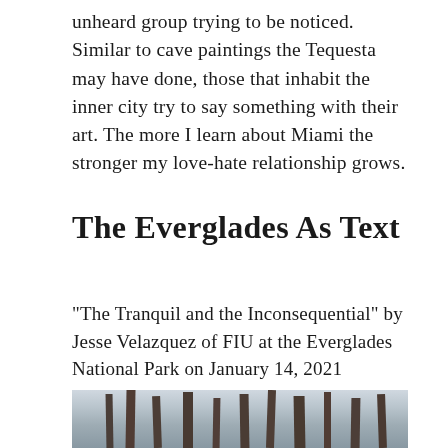unheard group trying to be noticed. Similar to cave paintings the Tequesta may have done, those that inhabit the inner city try to say something with their art. The more I learn about Miami the stronger my love-hate relationship grows.
The Everglades As Text
“The Tranquil and the Inconsequential” by Jesse Velazquez of FIU at the Everglades National Park on January 14, 2021
[Figure (photo): Photograph of bare tree trunks against a light sky, taken at the Everglades National Park.]